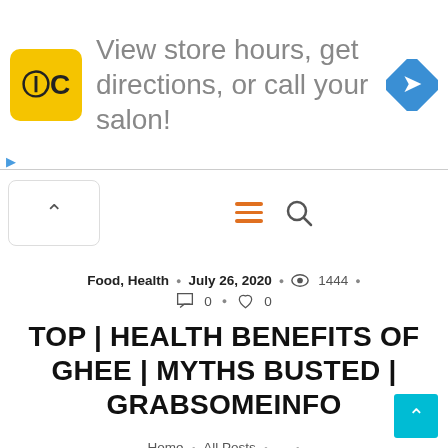[Figure (screenshot): Advertisement banner with HC yellow logo, text 'View store hours, get directions, or call your salon!' and a blue diamond navigation icon]
[Figure (screenshot): Navigation bar with back button (chevron up), hamburger menu icon (orange), and search icon]
Food, Health • July 26, 2020 • 👁 1444 • 💬 0 • ♡ 0
TOP | HEALTH BENEFITS OF GHEE | MYTHS BUSTED | GRABSOMEINFO
Home • All Posts • ... • Top | Health Benefits Of Ghee | Myths Busted |...